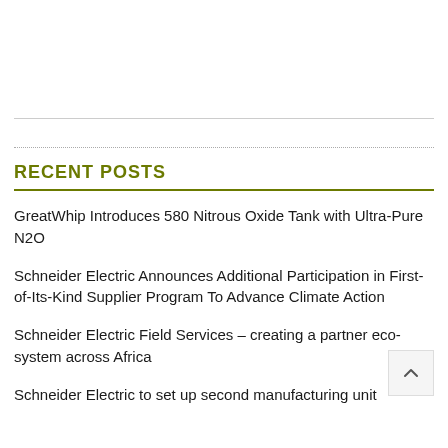RECENT POSTS
GreatWhip Introduces 580 Nitrous Oxide Tank with Ultra-Pure N2O
Schneider Electric Announces Additional Participation in First-of-Its-Kind Supplier Program To Advance Climate Action
Schneider Electric Field Services – creating a partner eco-system across Africa
Schneider Electric to set up second manufacturing unit